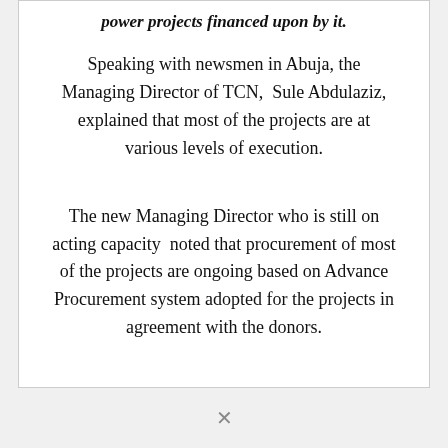power projects financed upon by it.
Speaking with newsmen in Abuja, the Managing Director of TCN,  Sule Abdulaziz, explained that most of the projects are at various levels of execution.
The new Managing Director who is still on acting capacity  noted that procurement of most of the projects are ongoing based on Advance Procurement system adopted for the projects in agreement with the donors.